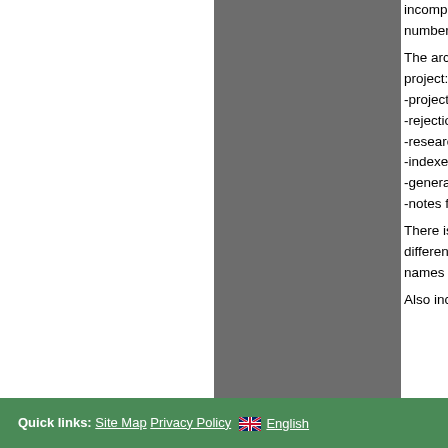incomplete, or at least what is... number of entries for names b...
The archive also contains the... project: -project proposals and scoping... -rejection letters from publishe... -research notes and noteboo... -indexes of female artist name... -general bibliography and lists... -notes for artists who did not...
There is a set of similar notes... different project. There is no c... names are not listed here.
Also included is an extensive...
| Field | Value |
| --- | --- |
| Date | [c 1950s-c 1973] |
| Level | Collection |
| Extent | 4 boxes |
| AccNo | 7 |
Quick links: Site Map Privacy Policy English